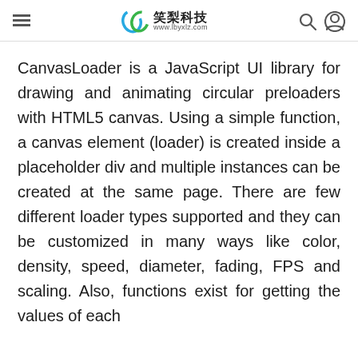≡  笑梨科技 www.lbyxlz.com  🔍  👤
CanvasLoader is a JavaScript UI library for drawing and animating circular preloaders with HTML5 canvas. Using a simple function, a canvas element (loader) is created inside a placeholder div and multiple instances can be created at the same page. There are few different loader types supported and they can be customized in many ways like color, density, speed, diameter, fading, FPS and scaling. Also, functions exist for getting the values of each